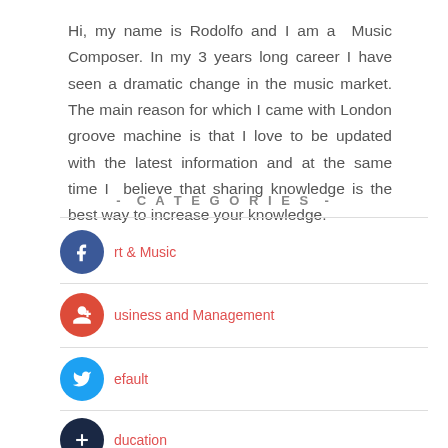Hi, my name is Rodolfo and I am a Music Composer. In my 3 years long career I have seen a dramatic change in the music market. The main reason for which I came with London groove machine is that I love to be updated with the latest information and at the same time I believe that sharing knowledge is the best way to increase your knowledge.
- CATEGORIES -
Art & Music
Business and Management
Default
Education
Health and Fitness